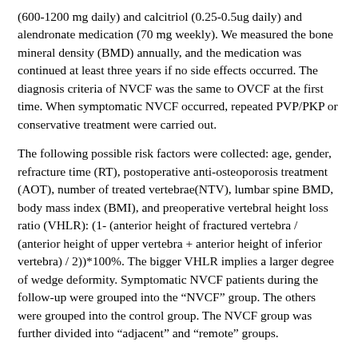(600-1200 mg daily) and calcitriol (0.25-0.5ug daily) and alendronate medication (70 mg weekly). We measured the bone mineral density (BMD) annually, and the medication was continued at least three years if no side effects occurred. The diagnosis criteria of NVCF was the same to OVCF at the first time. When symptomatic NVCF occurred, repeated PVP/PKP or conservative treatment were carried out.
The following possible risk factors were collected: age, gender, refracture time (RT), postoperative anti-osteoporosis treatment (AOT), number of treated vertebrae(NTV), lumbar spine BMD, body mass index (BMI), and preoperative vertebral height loss ratio (VHLR): (1- (anterior height of fractured vertebra / (anterior height of upper vertebra + anterior height of inferior vertebra) / 2))*100%. The bigger VHLR implies a larger degree of wedge deformity. Symptomatic NVCF patients during the follow-up were grouped into the “NVCF” group. The others were grouped into the control group. The NVCF group was further divided into “adjacent” and “remote” groups.
Statistical Analysis
Data were analyzed by using SPSS 22.0 software. Data were presented as percentages for categorical variables. Differences